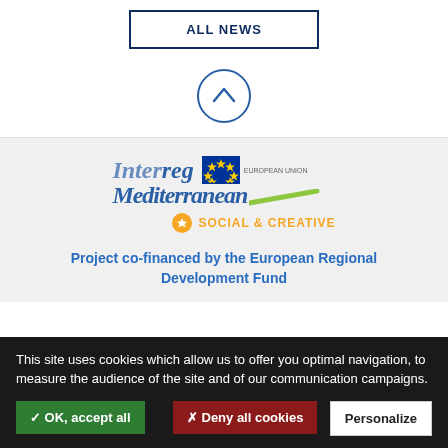[Figure (other): ALL NEWS button with dark blue border]
[Figure (other): Circle with upward chevron arrow icon]
[Figure (logo): Interreg Mediterranean Social & Creative logo with EU flag]
Project co-financed by the European Regional Development Fund
This site uses cookies which allow us to offer you optimal navigation, to measure the audience of the site and of our communication campaigns.
✓ OK, accept all
✗ Deny all cookies
Personalize